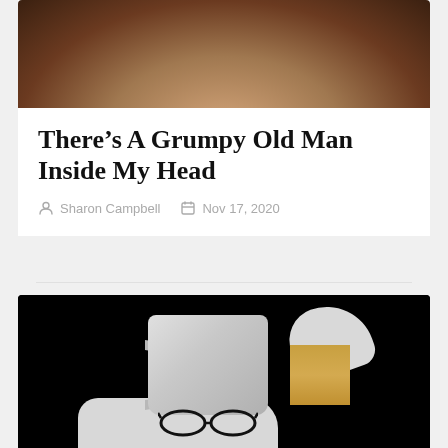[Figure (photo): Blurred warm-toned photo showing a person's upper back/shoulders area in a dark, warm background]
There’s A Grumpy Old Man Inside My Head
Sharon Campbell   Nov 17, 2020
[Figure (photo): Dark background photo showing a white mug with a spoon, a box of tissues, scattered white tissues, and eyeglasses on a surface]